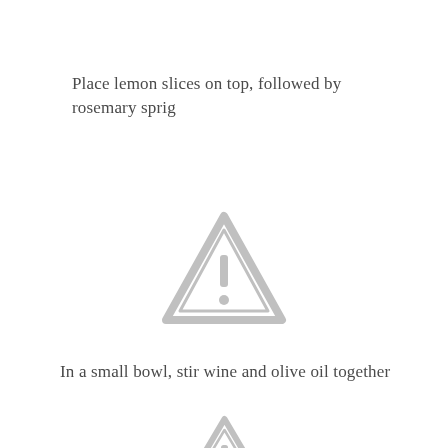Place lemon slices on top, followed by rosemary sprig
[Figure (illustration): Warning triangle icon with exclamation mark, rendered in light gray]
In a small bowl, stir wine and olive oil together
[Figure (illustration): Partial warning triangle icon with exclamation mark, rendered in light gray, cropped at bottom of page]